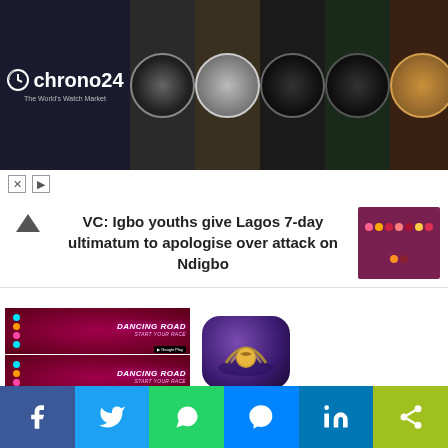[Figure (screenshot): Chrono24 advertisement banner showing the logo on the left and watch product images on the right]
VC: Igbo youths give Lagos 7-day ultimatum to apologise over attack on Ndigbo
[Figure (screenshot): Dancing Road: Color Ball Run! app advertisement showing game screenshots and app icon with title 'Dancing Road: Colo...' rated 4.5 free]
Dancing Road: Colo...
4.5 free
Social share bar: Facebook, Twitter, WhatsApp, Messenger, LinkedIn, Share